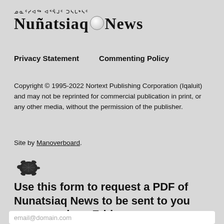[Figure (logo): Nunatsiaq News logo with Inuktitut syllabics above and a circular lens/globe element between the two words]
Privacy Statement    Commenting Policy
Copyright © 1995-2022 Nortext Publishing Corporation (Iqaluit) and may not be reprinted for commercial publication in print, or any other media, without the permission of the publisher.
Site by Manoverboard.
[Figure (illustration): Small turtle icon (dark, viewed from above)]
Use this form to request a PDF of Nunatsiaq News to be sent to you every week on Friday.
email@domain.com